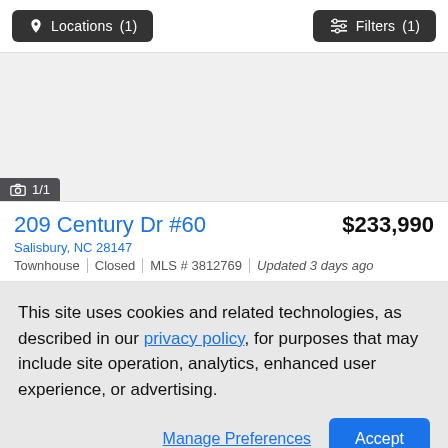Locations (1)   Filters (1)
[Figure (photo): Property photo area showing light gray background with photo counter overlay reading 1/1]
209 Century Dr #60   $233,990
Salisbury, NC 28147
Townhouse | Closed | MLS # 3812769 | Updated 3 days ago
This site uses cookies and related technologies, as described in our privacy policy, for purposes that may include site operation, analytics, enhanced user experience, or advertising.
Manage Preferences   Accept